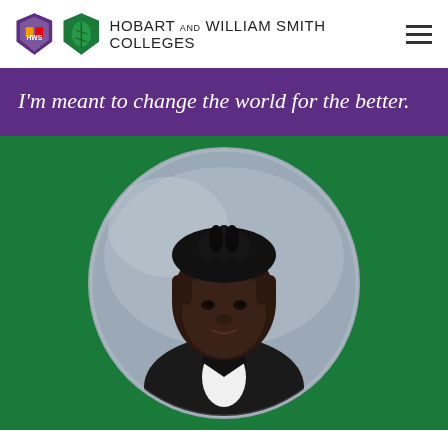HOBART AND WILLIAM SMITH COLLEGES
I'm meant to change the world for the better.
[Figure (photo): Circular portrait photo of a young man wearing a black tuxedo with bow tie, against a bluish-grey studio background]